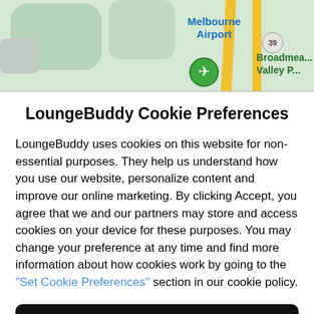[Figure (screenshot): Partial map showing Melbourne Airport area with green park areas, yellow roads, and location pin. Labels include 'Melbourne Airport' in blue and 'Broadmeadows Valley P...' in green. Road badge showing '39'.]
LoungeBuddy Cookie Preferences
LoungeBuddy uses cookies on this website for non-essential purposes. They help us understand how you use our website, personalize content and improve our online marketing. By clicking Accept, you agree that we and our partners may store and access cookies on your device for these purposes. You may change your preference at any time and find more information about how cookies work by going to the "Set Cookie Preferences" section in our cookie policy.
Decline
Accept
Options